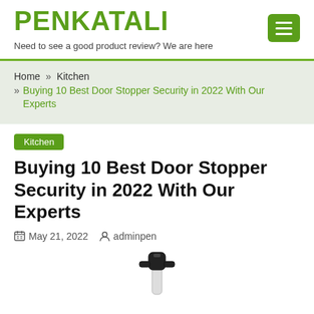PENKATALI
Need to see a good product review? We are here
Home » Kitchen » Buying 10 Best Door Stopper Security in 2022 With Our Experts
Kitchen
Buying 10 Best Door Stopper Security in 2022 With Our Experts
May 21, 2022   adminpen
[Figure (photo): Door stopper security device, black colored, mounted on a white base]